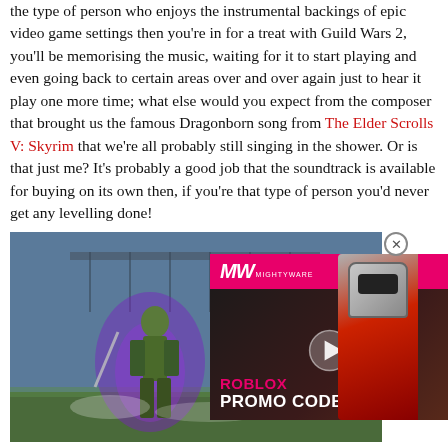the type of person who enjoys the instrumental backings of epic video game settings then you're in for a treat with Guild Wars 2, you'll be memorising the music, waiting for it to start playing and even going back to certain areas over and over again just to hear it play one more time; what else would you expect from the composer that brought us the famous Dragonborn song from The Elder Scrolls V: Skyrim that we're all probably still singing in the shower. Or is that just me? It's probably a good job that the soundtrack is available for buying on its own then, if you're that type of person you'd never get any levelling done!
[Figure (screenshot): Screenshot from Guild Wars 2 showing a character with purple energy effects, overlaid with a Mighty Ware advertisement for Roblox Promo Codes featuring a robot character and play button]